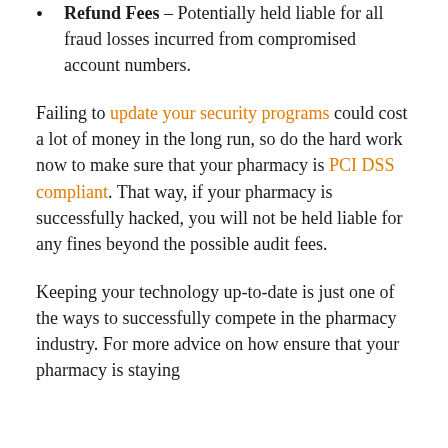Refund Fees – Potentially held liable for all fraud losses incurred from compromised account numbers.
Failing to update your security programs could cost a lot of money in the long run, so do the hard work now to make sure that your pharmacy is PCI DSS compliant. That way, if your pharmacy is successfully hacked, you will not be held liable for any fines beyond the possible audit fees.
Keeping your technology up-to-date is just one of the ways to successfully compete in the pharmacy industry. For more advice on how ensure that your pharmacy is staying